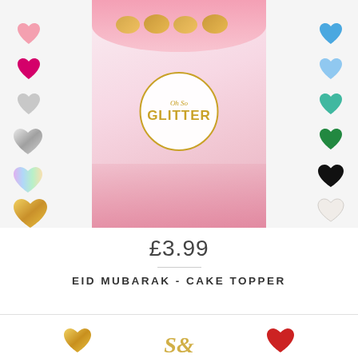[Figure (photo): Product listing image for Eid Mubarak Cake Topper showing a decorated pink cake with gold glitter 'Oh So GLITTER' branding and color swatches (hearts) on left and right sides in pink, magenta, silver, metallic silver, holographic, gold on left; blue, glitter blue, teal, green, black, white on right.]
£3.99
EID MUBARAK - CAKE TOPPER
[Figure (photo): Bottom partial view of another product listing showing gold heart, gold script letters/initials, and red heart color swatch.]